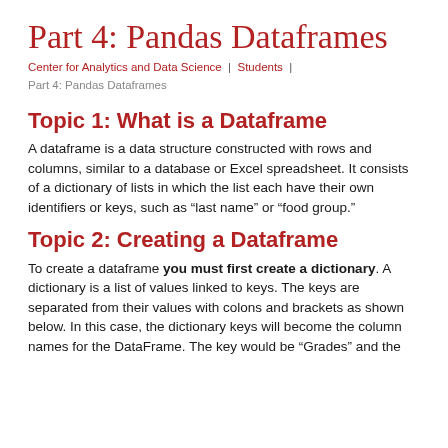Part 4: Pandas Dataframes
Center for Analytics and Data Science  |  Students  |  Part 4: Pandas Dataframes
Topic 1: What is a Dataframe
A dataframe is a data structure constructed with rows and columns, similar to a database or Excel spreadsheet. It consists of a dictionary of lists in which the list each have their own identifiers or keys, such as “last name” or “food group.”
Topic 2: Creating a Dataframe
To create a dataframe you must first create a dictionary. A dictionary is a list of values linked to keys. The keys are separated from their values with colons and brackets as shown below. In this case, the dictionary keys will become the column names for the DataFrame. The key would be “Grades” and the